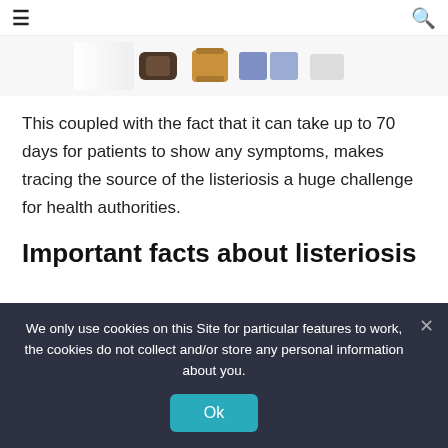☰  🔍
[Figure (photo): Partial food image strip showing various food items including bread, canned goods, and other products]
This coupled with the fact that it can take up to 70 days for patients to show any symptoms, makes tracing the source of the listeriosis a huge challenge for health authorities.
Important facts about listeriosis
The NICD issued a press statement highlighting these important facts:
We only use cookies on this Site for particular features to work, the cookies do not collect and/or store any personal information about you.